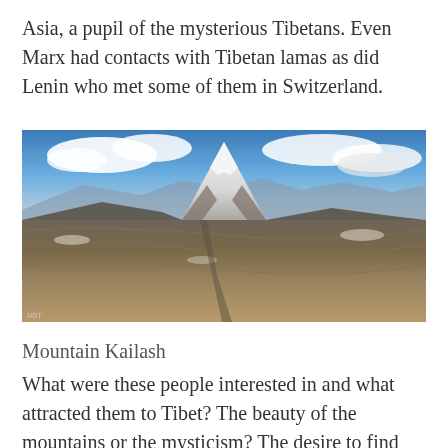Asia, a pupil of the mysterious Tibetans. Even Marx had contacts with Tibetan lamas as did Lenin who met some of them in Switzerland.
[Figure (photo): Panoramic photograph of Mount Kailash in Tibet, showing the snow-capped sacred mountain rising above the barren brown landscape with a blue sky and clouds in the background.]
Mountain Kailash
What were these people interested in and what attracted them to Tibet? The beauty of the mountains or the mysticism? The desire to find